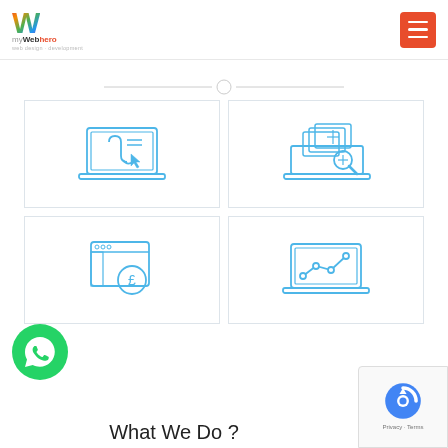myWebhero — navigation header with logo and hamburger menu
[Figure (illustration): Horizontal divider line with a circle/dot in the center, acting as a decorative section separator]
[Figure (illustration): Four icon boxes in a 2x2 grid: (1) laptop with hook/phishing icon, (2) laptop with money/payment cards icon, (3) browser window with pound sign icon, (4) laptop with line-chart/analytics icon]
[Figure (illustration): Green circle WhatsApp floating button with WhatsApp logo]
[Figure (illustration): Google reCAPTCHA badge in bottom-right corner showing reCAPTCHA logo, Privacy and Terms text]
What We Do ?